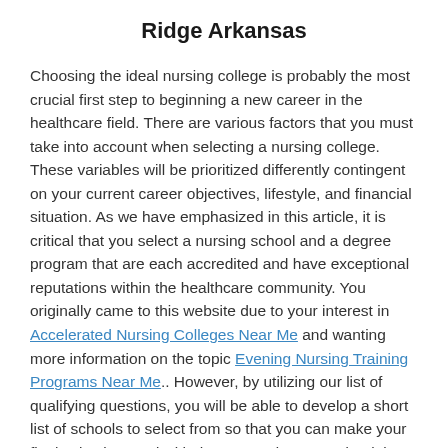Ridge Arkansas
Choosing the ideal nursing college is probably the most crucial first step to beginning a new career in the healthcare field. There are various factors that you must take into account when selecting a nursing college. These variables will be prioritized differently contingent on your current career objectives, lifestyle, and financial situation. As we have emphasized in this article, it is critical that you select a nursing school and a degree program that are each accredited and have exceptional reputations within the healthcare community. You originally came to this website due to your interest in Accelerated Nursing Colleges Near Me and wanting more information on the topic Evening Nursing Training Programs Near Me.. However, by utilizing our list of qualifying questions, you will be able to develop a short list of schools to select from so that you can make your final selection. And with the proper degree and training,